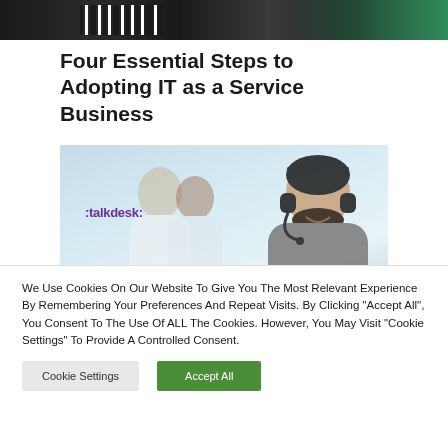[Figure (photo): Top portion of a photo showing a person in green top holding a phone, with dark barcode-like background elements]
Four Essential Steps to Adopting IT as a Service Business
[Figure (photo): Talkdesk branded image showing customer service agents wearing headsets in an office environment. Three people visible, with the talkdesk logo overlay in purple.]
We Use Cookies On Our Website To Give You The Most Relevant Experience By Remembering Your Preferences And Repeat Visits. By Clicking “Accept All”, You Consent To The Use Of ALL The Cookies. However, You May Visit “Cookie Settings” To Provide A Controlled Consent.